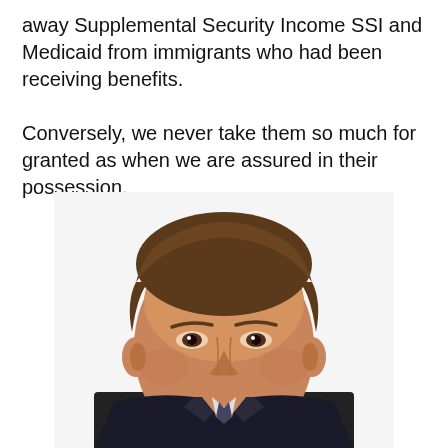away Supplemental Security Income SSI and Medicaid from immigrants who had been receiving benefits.

Conversely, we never take them so much for granted as when we are assured in their possession.
[Figure (photo): Head-and-shoulders portrait photograph of a middle-aged man with short brown hair, wearing a dark suit, looking slightly to his left, on a white background.]